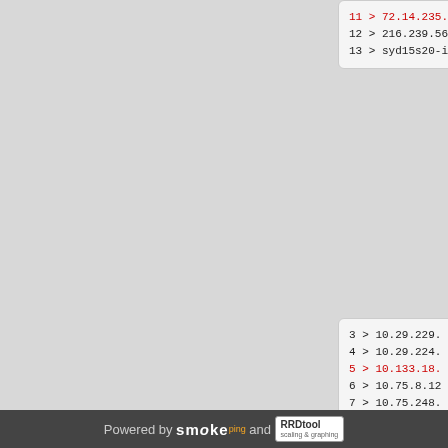11 > 72.14.235.
12 > 216.239.56
13 > syd15s20-i
3 > 10.29.229.
4 > 10.29.224.
5 > 10.133.18.
6 > 10.75.8.12
7 > 10.75.248.
8 > syd-sy2-bb
9 >
10 > 72.14.236.
11 > 142.250.22
12 > syd15s15-i
3 > 10.29.229.
4 > 10.29.224.
5 > 10.133.18.
Powered by smoke and RRDtool